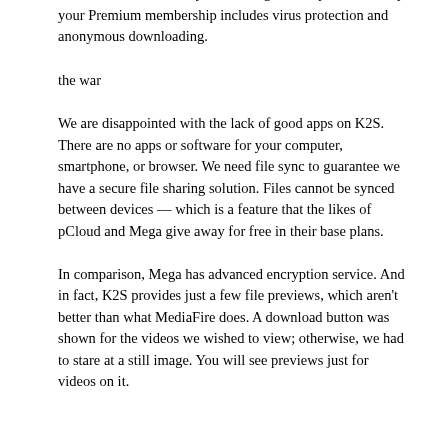store information, as well as an extra 50 GB of information that does not include any advertising each day. Additionally, your Premium membership includes virus protection and anonymous downloading.
the war
We are disappointed with the lack of good apps on K2S. There are no apps or software for your computer, smartphone, or browser. We need file sync to guarantee we have a secure file sharing solution. Files cannot be synced between devices — which is a feature that the likes of pCloud and Mega give away for free in their base plans.
In comparison, Mega has advanced encryption service. And in fact, K2S provides just a few file previews, which aren't better than what MediaFire does. A download button was shown for the videos we wished to view; otherwise, we had to stare at a still image. You will see previews just for videos on it.